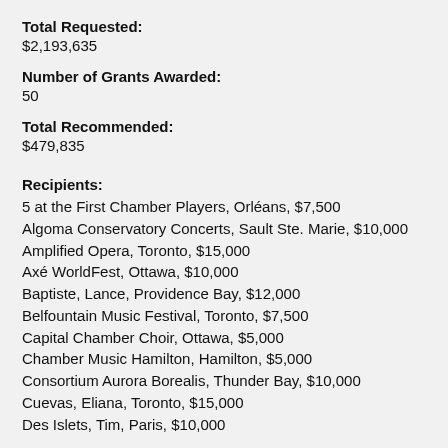Total Requested: $2,193,635
Number of Grants Awarded: 50
Total Recommended: $479,835
Recipients:
5 at the First Chamber Players, Orléans, $7,500
Algoma Conservatory Concerts, Sault Ste. Marie, $10,000
Amplified Opera, Toronto, $15,000
Axé WorldFest, Ottawa, $10,000
Baptiste, Lance, Providence Bay, $12,000
Belfountain Music Festival, Toronto, $7,500
Capital Chamber Choir, Ottawa, $5,000
Chamber Music Hamilton, Hamilton, $5,000
Consortium Aurora Borealis, Thunder Bay, $10,000
Cuevas, Eliana, Toronto, $15,000
Des Islets, Tim, Paris, $10,000